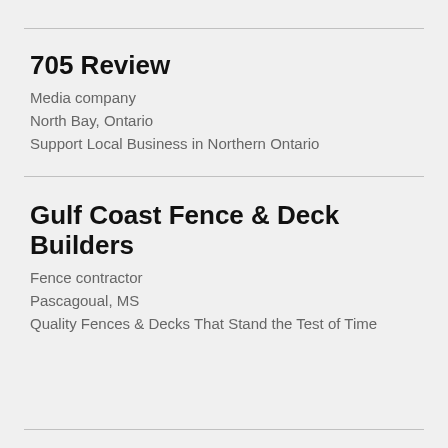705 Review
Media company
North Bay, Ontario
Support Local Business in Northern Ontario
Gulf Coast Fence & Deck Builders
Fence contractor
Pascagoual, MS
Quality Fences & Decks That Stand the Test of Time